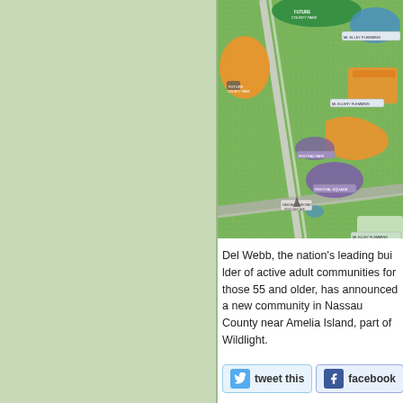[Figure (map): Colorful zoning/land-use map showing Nassau County area near Amelia Island and Wildlight development. Shows orange, green, purple, blue, and white land parcels with small label tags.]
Del Webb, the nation's leading builder of active adult communities for those 55 and older, has announced a new community in Nassau County near Amelia Island. It will be part of the master-planned community called Wildlight.
[Figure (other): Tweet this button with Twitter bird icon]
[Figure (other): Facebook share button with Facebook f icon]